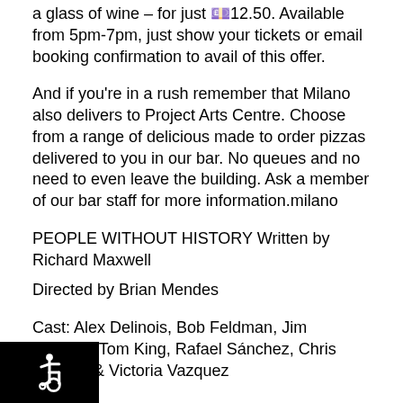a glass of wine – for just £12.50. Available from 5pm-7pm, just show your tickets or email booking confirmation to avail of this offer.
And if you're in a rush remember that Milano also delivers to Project Arts Centre. Choose from a range of delicious made to order pizzas delivered to you in our bar. No queues and no need to even leave the building. Ask a member of our bar staff for more information.milano
PEOPLE WITHOUT HISTORY Written by Richard Maxwell
Directed by Brian Mendes
Cast: Alex Delinois, Bob Feldman, Jim Fletcher, Tom King, Rafael Sánchez, Chris Sullivan & Victoria Vazquez
[Figure (illustration): White wheelchair accessibility icon on black background square, bottom left corner]